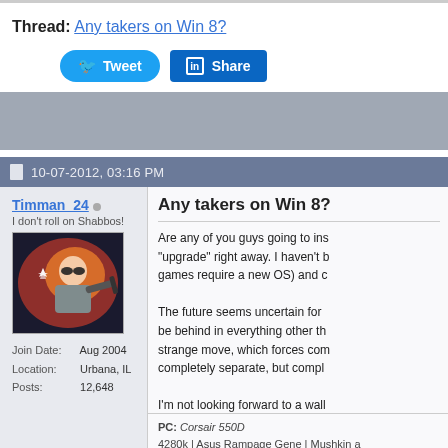Thread: Any takers on Win 8?
Tweet  Share
[Figure (screenshot): Gray advertisement banner area]
10-07-2012, 03:16 PM
Timman_24
I don't roll on Shabbos!
Join Date: Aug 2004
Location: Urbana, IL
Posts: 12,648
Any takers on Win 8?
Are any of you guys going to ins... "upgrade" right away. I haven't b... games require a new OS) and c...

The future seems uncertain for ... be behind in everything other th... strange move, which forces com... completely separate, but compl...

I'm not looking forward to a wall...
PC: Corsair 550D
4280k | Asus Rampage Gene | Mushkin a...